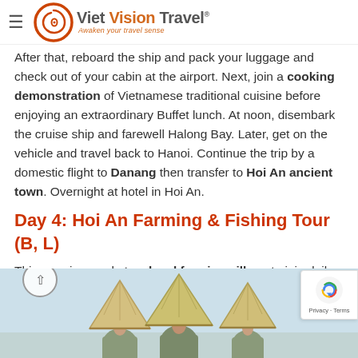Viet Vision Travel — Awaken your travel sense
After that, reboard the ship and pack your luggage and check out of your cabin at the airport. Next, join a cooking demonstration of Vietnamese traditional cuisine before enjoying an extraordinary Buffet lunch. At noon, disembark the cruise ship and farewell Halong Bay. Later, get on the vehicle and travel back to Hanoi. Continue the trip by a domestic flight to Danang then transfer to Hoi An ancient town. Overnight at hotel in Hoi An.
Day 4: Hoi An Farming & Fishing Tour (B, L)
This morning, cycle to a local farming village to join daily work life of local farmers such as hoeing soil, watering veggie at an organic herb garden, riding water buffalo in the field and enjoy the freshest air of the countryside beauty.
[Figure (photo): People wearing traditional Vietnamese conical hats (non la) in a field, seen from behind, against a light sky background.]